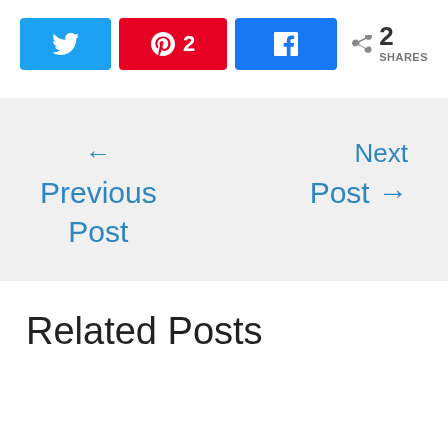[Figure (screenshot): Social share buttons: Twitter (blue), Pinterest with count 2 (red), Facebook (blue), and share count showing 2 SHARES]
← Previous Post
Next Post →
Related Posts